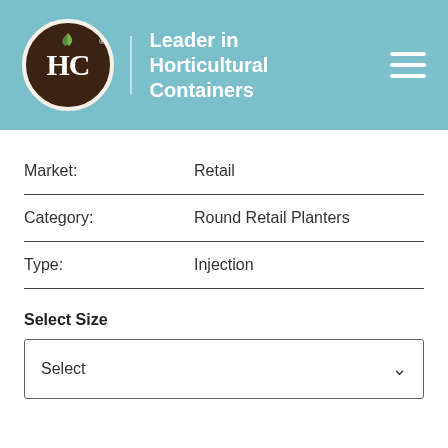[Figure (logo): HC logo circle - dark brown circle with HC letters and small leaf, next to teal header with text 'Leader in Horticultural Containers' and hamburger menu icon]
| Market: | Retail |
| Category: | Round Retail Planters |
| Type: | Injection |
Select Size
Select